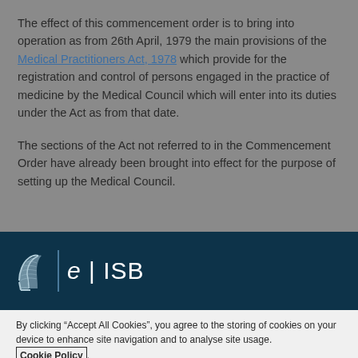The effect of this commencement order is to bring into operation as from 26th April, 1979 the main provisions of the Medical Practitioners Act, 1978 which provide for the registration and control of persons engaged in the practice of medicine by the Medical Council which will enter into its duties under the Act as from that date.
The sections of the Act not referred to in the Commencement Order have already been brought into effect for the purpose of setting up the Medical Council.
[Figure (logo): eISB logo with Irish harp on dark navy background]
By clicking “Accept All Cookies”, you agree to the storing of cookies on your device to enhance site navigation and to analyse site usage. Cookie Policy.